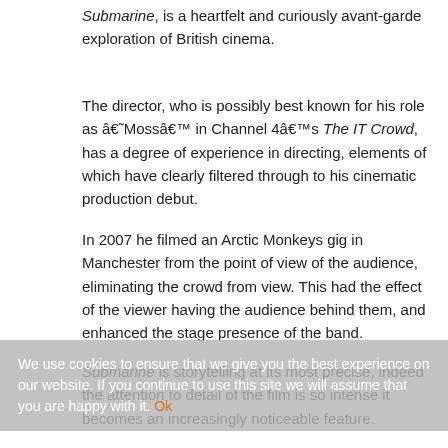Submarine, is a heartfelt and curiously avant-garde exploration of British cinema.
The director, who is possibly best known for his role as â€˜Mossâ€™ in Channel 4â€™s The IT Crowd, has a degree of experience in directing, elements of which have clearly filtered through to his cinematic production debut.
In 2007 he filmed an Arctic Monkeys gig in Manchester from the point of view of the audience, eliminating the crowd from view. This had the effect of the viewer having the audience behind them, and enhanced the stage presence of the band.
Submarine is storytelling at its most precise, indeed the attention to detail of the film is so intense it becomes an increasingly noticeable feature.
Main character Oliver Tate (Craig Roberts) is the audienceâ€™s eyes and voice as we follow his quest of growing up, set against the backdrop